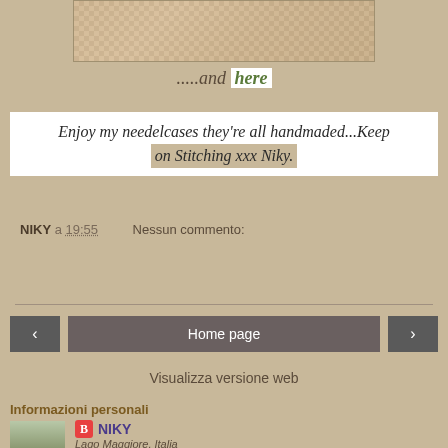[Figure (photo): Cropped photo of handmade needlecase items with checkered fabric]
.....and here
Enjoy my needelcases they're all handmaded...Keep on Stitching xxx Niky.
NIKY a 19:55    Nessun commento:
Condividi
Home page
Visualizza versione web
Informazioni personali
[Figure (photo): Profile photo of NIKY]
NIKY
Lago Maggiore, Italia